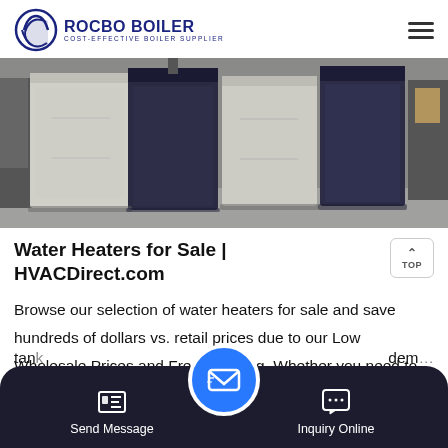[Figure (logo): ROCBO BOILER logo with circular wave icon and text 'COST-EFFECTIVE BOILER SUPPLIER']
[Figure (photo): Industrial boilers/water heaters in a facility — beige and dark blue/navy cabinet units on concrete floor]
Water Heaters for Sale | HVACDirect.com
Browse our selection of water heaters for sale and save hundreds of dollars vs. retail prices due to our Low Wholesale Prices and Free Shipping. Whether you need to replace a propane hot water tan... dem...